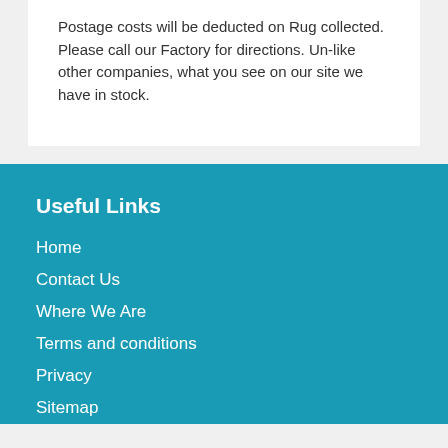Postage costs will be deducted on Rug collected. Please call our Factory for directions. Un-like other companies, what you see on our site we have in stock.
Useful Links
Home
Contact Us
Where We Are
Terms and conditions
Privacy
Sitemap